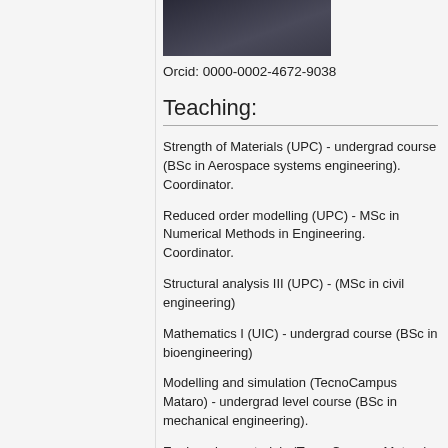[Figure (photo): Profile photo of a person, dark background]
Orcid: 0000-0002-4672-9038
Teaching:
Strength of Materials (UPC) - undergrad course (BSc in Aerospace systems engineering). Coordinator.
Reduced order modelling (UPC) - MSc in Numerical Methods in Engineering. Coordinator.
Structural analysis III (UPC) - (MSc in civil engineering)
Mathematics I (UIC) - undergrad course (BSc in bioengineering)
Modelling and simulation (TecnoCampus Mataro) - undergrad level course (BSc in mechanical engineering).
Engineering materials (TecnoCampus Mataro) - undergrad level course BSc in mechanical engineering)